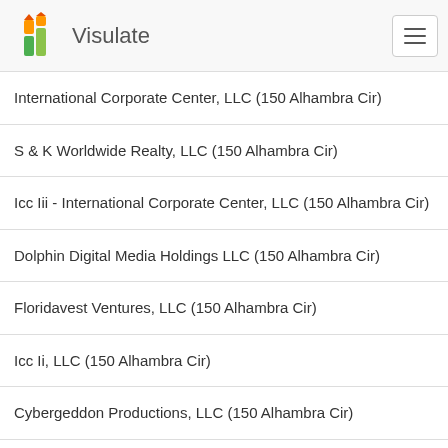Visulate
International Corporate Center, LLC (150 Alhambra Cir)
S & K Worldwide Realty, LLC (150 Alhambra Cir)
Icc Iii - International Corporate Center, LLC (150 Alhambra Cir)
Dolphin Digital Media Holdings LLC (150 Alhambra Cir)
Floridavest Ventures, LLC (150 Alhambra Cir)
Icc Ii, LLC (150 Alhambra Cir)
Cybergeddon Productions, LLC (150 Alhambra Cir)
Jb Believe, LLC (150 Alhambra Cir)
Youngblood Productions, LLC (150 Alhambra Cir)
Dolphin Max Steel Holdings LLC (150 Alhambra Cir)